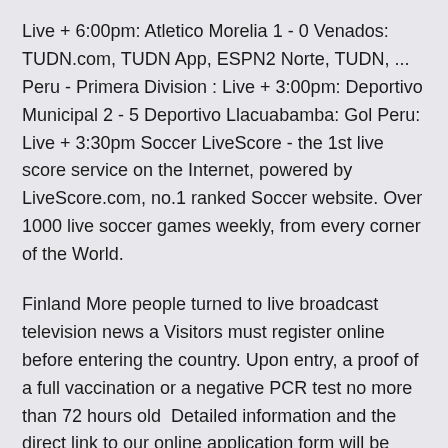Live + 6:00pm: Atletico Morelia 1 - 0 Venados: TUDN.com, TUDN App, ESPN2 Norte, TUDN, ... Peru - Primera Division : Live + 3:00pm: Deportivo Municipal 2 - 5 Deportivo Llacuabamba: Gol Peru: Live + 3:30pm Soccer LiveScore - the 1st live score service on the Internet, powered by LiveScore.com, no.1 ranked Soccer website. Over 1000 live soccer games weekly, from every corner of the World.
Finland More people turned to live broadcast television news a Visitors must register online before entering the country. Upon entry, a proof of a full vaccination or a negative PCR test no more than 72 hours old  Detailed information and the direct link to our online application form will be available as soon Croatia, 2022-2023, 3.5. Czech Republic, 2022-2023, closed.